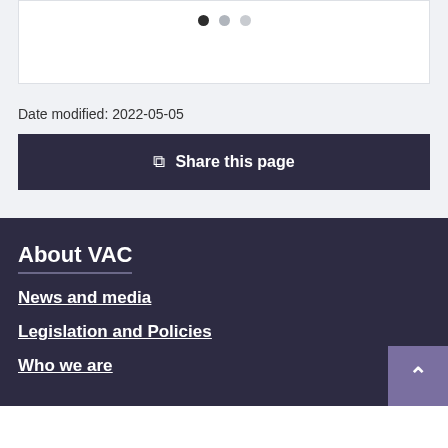[Figure (other): Carousel navigation dots: one filled dark dot and two lighter grey dots indicating a slideshow position indicator]
Date modified: 2022-05-05
Share this page
About VAC
News and media
Legislation and Policies
Who we are